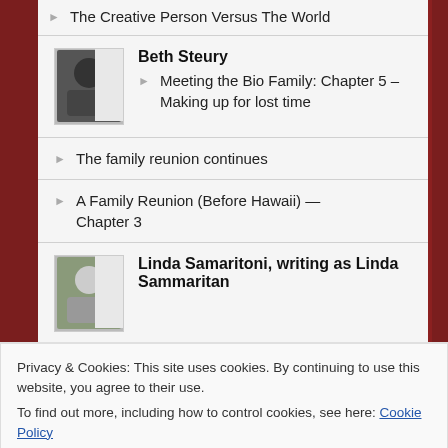The Creative Person Versus The World
Beth Steury
Meeting the Bio Family: Chapter 5 – Making up for lost time
The family reunion continues
A Family Reunion (Before Hawaii) — Chapter 3
Linda Samaritoni, writing as Linda Sammaritan
Mrs. Frisby and the Rats of NIMH
Privacy & Cookies: This site uses cookies. By continuing to use this website, you agree to their use.
To find out more, including how to control cookies, see here: Cookie Policy
Close and accept